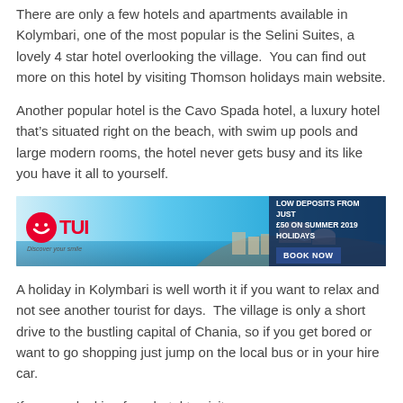There are only a few hotels and apartments available in Kolymbari, one of the most popular is the Selini Suites, a lovely 4 star hotel overlooking the village.  You can find out more on this hotel by visiting Thomson holidays main website.
Another popular hotel is the Cavo Spada hotel, a luxury hotel that's situated right on the beach, with swim up pools and large modern rooms, the hotel never gets busy and its like you have it all to yourself.
[Figure (infographic): TUI travel advertisement banner showing Greek island scenery with blue domed buildings and sea. Text reads: LOW DEPOSITS FROM JUST £50 ON SUMMER 2019 HOLIDAYS with a BOOK NOW button.]
A holiday in Kolymbari is well worth it if you want to relax and not see another tourist for days.  The village is only a short drive to the bustling capital of Chania, so if you get bored or want to go shopping just jump on the local bus or in your hire car.
If you are looking for a hotel to visit...